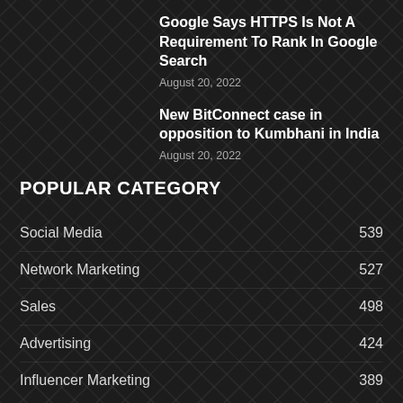Google Says HTTPS Is Not A Requirement To Rank In Google Search
August 20, 2022
New BitConnect case in opposition to Kumbhani in India
August 20, 2022
POPULAR CATEGORY
Social Media 539
Network Marketing 527
Sales 498
Advertising 424
Influencer Marketing 389